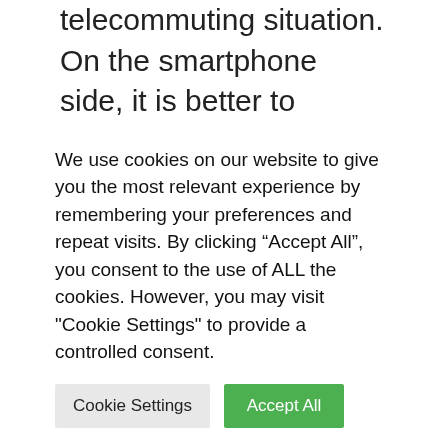telecommuting situation. On the smartphone side, it is better to choose a fairly modern model, less than three years old if possible so that you can accommodate all the applications necessary for the smooth running of your task. A good internet connection is also essential with a permanently connected box. Next, it’s up to you to choose to switch to Wi-Fi or wired for your computer instead of using 4G (or 5G for
We use cookies on our website to give you the most relevant experience by remembering your preferences and repeat visits. By clicking “Accept All”, you consent to the use of ALL the cookies. However, you may visit "Cookie Settings" to provide a controlled consent.